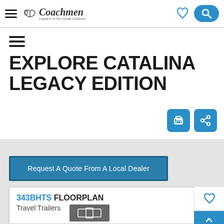Coachmen navigation header with hamburger menu, logo, heart icon, and search button
EXPLORE CATALINA LEGACY EDITION
[Figure (screenshot): Print and share action buttons (teal/blue rounded square icons)]
Request A Quote From A Local Dealer
343BHTS FLOORPLAN
Travel Trailers